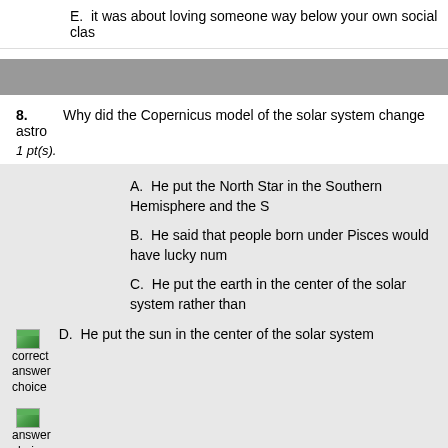E.  it was about loving someone way below your own social class
8.   Why did the Copernicus model of the solar system change astro
1 pt(s).
A.  He put the North Star in the Southern Hemisphere and the S
B.  He said that people born under Pisces would have lucky num
C.  He put the earth in the center of the solar system rather than
D.  He put the sun in the center of the solar system
correct answer choice
answer choice
you